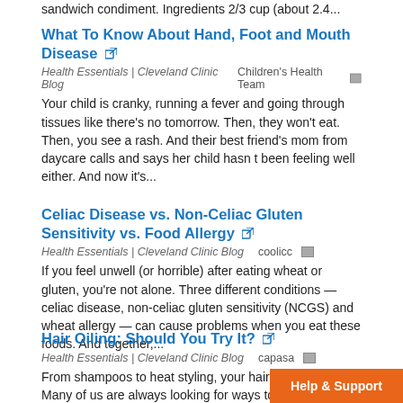sandwich condiment. Ingredients 2/3 cup (about 2.4...
What To Know About Hand, Foot and Mouth Disease
Health Essentials | Cleveland Clinic Blog   Children's Health Team
Your child is cranky, running a fever and going through tissues like there's no tomorrow. Then, they won't eat. Then, you see a rash. And their best friend's mom from daycare calls and says her child hasn t been feeling well either. And now it's...
Celiac Disease vs. Non-Celiac Gluten Sensitivity vs. Food Allergy
Health Essentials | Cleveland Clinic Blog   coolicc
If you feel unwell (or horrible) after eating wheat or gluten, you're not alone. Three different conditions — celiac disease, non-celiac gluten sensitivity (NCGS) and wheat allergy — can cause problems when you eat these foods. And together,...
Hair Oiling: Should You Try It?
Health Essentials | Cleveland Clinic Blog   capasa
From shampoos to heat styling, your hair can g... Many of us are always looking for ways to give...